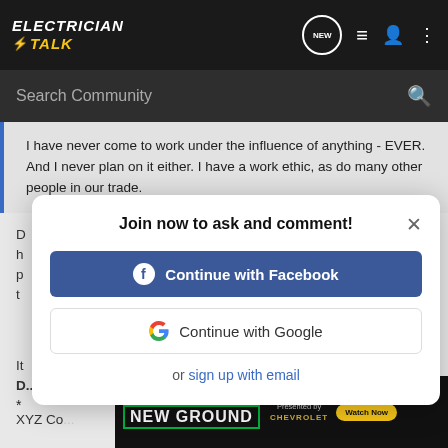Electrician Talk
Search Community
I have never come to work under the influence of anything - EVER. And I never plan on it either. I have a work ethic, as do many other people in our trade.
Join now to ask and comment!
Continue with Facebook
Continue with Google
or sign up with email
It
D...
*
XYZ Co... ovide a
[Figure (screenshot): AG Daily New Ground advertisement banner with Chevrolet branding and Watch Now button]